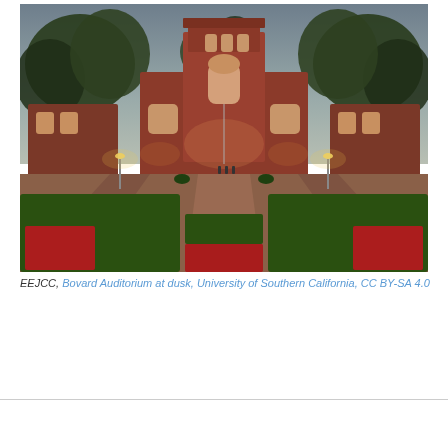[Figure (photo): Bovard Auditorium at dusk, University of Southern California. A large brick Romanesque-style building with a tall central tower is centered at the end of a wide brick pathway. Manicured hedges flank the path, and flower beds with red flowers are in the foreground. Trees frame the scene and warm lights glow from the building and lamp posts in the evening light.]
EEJCC, Bovard Auditorium at dusk, University of Southern California, CC BY-SA 4.0